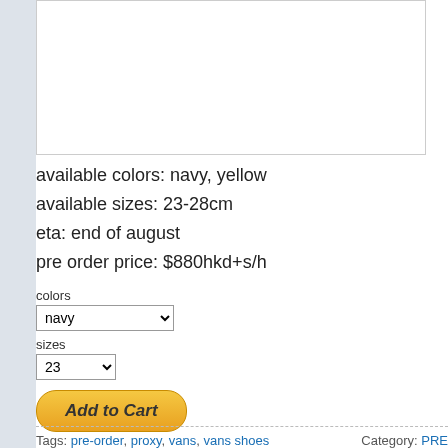[Figure (photo): White image box area (product image placeholder)]
available colors: navy, yellow
available sizes: 23-28cm
eta: end of august
pre order price: $880hkd+s/h
colors
navy (dropdown)
sizes
23 (dropdown)
Add to Cart
Tags: pre-order, proxy, vans, vans shoes   Category: PRE